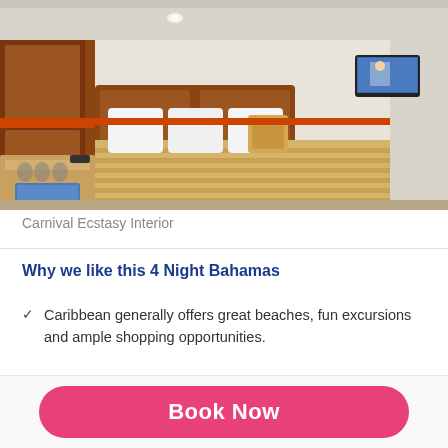[Figure (photo): Interior cabin of Carnival Ecstasy cruise ship showing a bed with white linens and yellow/gold striped bedspread, decorative pillows, wooden headboard with orange accent stripe, wall-mounted TV, desk/vanity area with glasses, and warm lighting.]
Carnival Ecstasy Interior
Why we like this 4 Night Bahamas
Caribbean generally offers great beaches, fun excursions and ample shopping opportunities.
Book Now